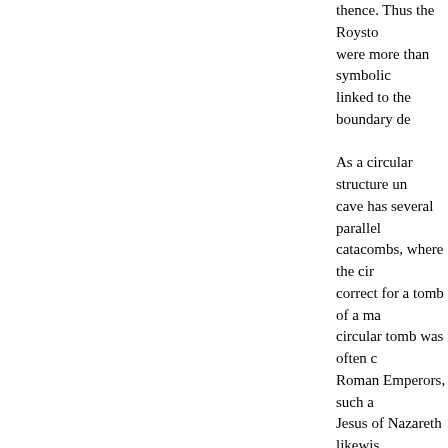thence. Thus the Roysto were more than symbolic linked to the boundary de As a circular structure un cave has several parallel catacombs, where the cir correct for a tomb of a ma circular tomb was often c Roman Emperors, such a Jesus of Nazareth likewis that spawned many imita Holy Sepulchre churches St Peietro Montorio, Rom the reputed site of the inv Peter, legendary founder symbolism of the underwc christian mythology, Jesu during his dead period af remove the souls of the r etc. - from the clutches o Jesus souls until the Red circular mundus-Holy Sep with the underworld. At R buried treasure, which ha point to the underworld, i Templar connection postu may have some validity i sect certainly showed an and the like, though the a